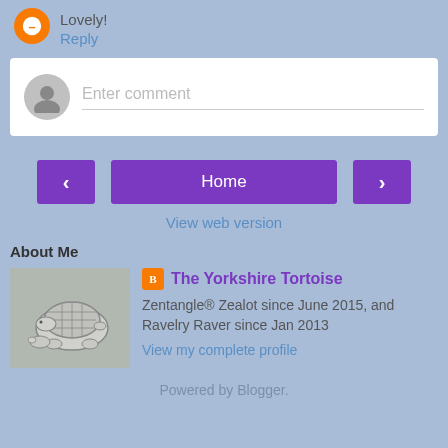Lovely!
Reply
[Figure (screenshot): Enter comment input box with user avatar placeholder]
[Figure (infographic): Navigation buttons: left arrow, Home, right arrow]
View web version
About Me
[Figure (illustration): Profile block with tortoise sketch thumbnail and blogger profile info for The Yorkshire Tortoise]
The Yorkshire Tortoise
Zentangle® Zealot since June 2015, and Ravelry Raver since Jan 2013
View my complete profile
Powered by Blogger.